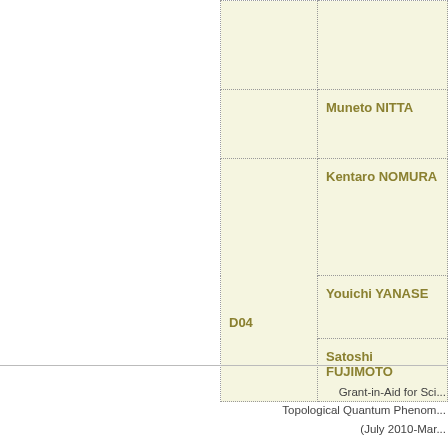| Code | Name |
| --- | --- |
|  | Muneto NITTA |
| D04 | Kentaro NOMURA |
|  | Youichi YANASE |
|  | Satoshi FUJIMOTO |
Grant-in-Aid for Sci... Topological Quantum Phenom... (July 2010-Mar...